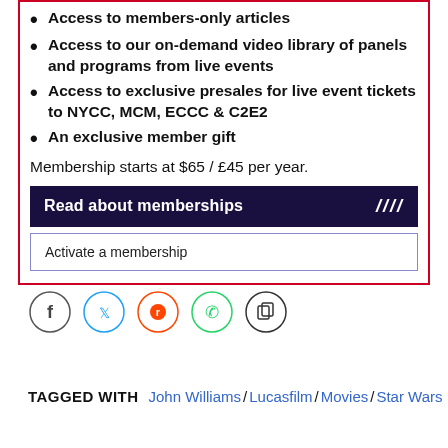Access to members-only articles
Access to our on-demand video library of panels and programs from live events
Access to exclusive presales for live event tickets to NYCC, MCM, ECCC & C2E2
An exclusive member gift
Membership starts at $65 / £45 per year.
Read about memberships ////
Activate a membership
[Figure (infographic): Row of five social media share icons: Facebook (blue circle), Twitter (light blue circle), Reddit (orange circle), WhatsApp (green circle), Copy link (dark circle)]
TAGGED WITH  John Williams / Lucasfilm / Movies / Star Wars